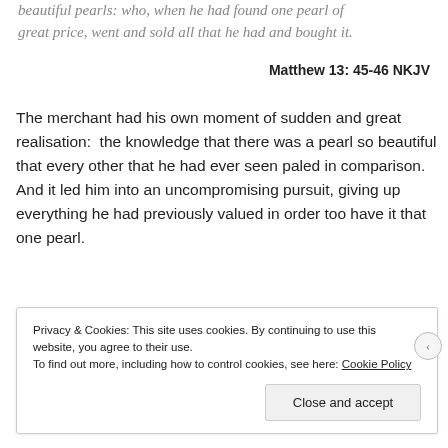beautiful pearls: who, when he had found one pearl of great price, went and sold all that he had and bought it.
Matthew 13: 45-46 NKJV
The merchant had his own moment of sudden and great realisation:  the knowledge that there was a pearl so beautiful that every other that he had ever seen paled in comparison.  And it led him into an uncompromising pursuit, giving up everything he had previously valued in order too have it that one pearl.
Privacy & Cookies: This site uses cookies. By continuing to use this website, you agree to their use.
To find out more, including how to control cookies, see here: Cookie Policy
Close and accept